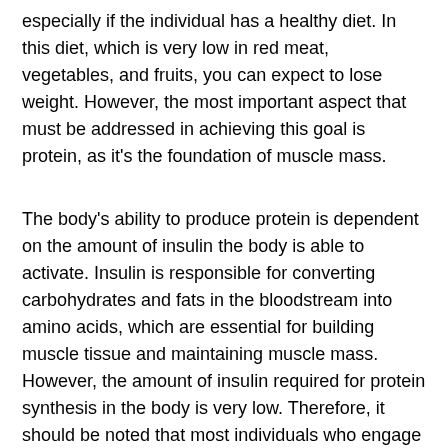especially if the individual has a healthy diet. In this diet, which is very low in red meat, vegetables, and fruits, you can expect to lose weight. However, the most important aspect that must be addressed in achieving this goal is protein, as it's the foundation of muscle mass.
The body's ability to produce protein is dependent on the amount of insulin the body is able to activate. Insulin is responsible for converting carbohydrates and fats in the bloodstream into amino acids, which are essential for building muscle tissue and maintaining muscle mass. However, the amount of insulin required for protein synthesis in the body is very low. Therefore, it should be noted that most individuals who engage in resistance training, as well as many endurance athletes, will not be able to the increase the protein levels of